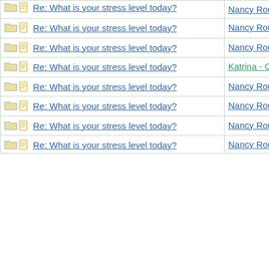| Topic | Author | Date |
| --- | --- | --- |
| Re: What is your stress level today? | Nancy Roussy | 07/12/17 12:03 PM |
| Re: What is your stress level today? | Nancy Roussy | 07/17/17 08:19 PM |
| Re: What is your stress level today? | Nancy Roussy | 07/21/17 08:50 PM |
| Re: What is your stress level today? | Katrina - Cosmetics Editor | 07/26/17 01:08 PM |
| Re: What is your stress level today? | Nancy Roussy | 07/27/17 07:04 PM |
| Re: What is your stress level today? | Nancy Roussy | 07/29/17 03:57 PM |
| Re: What is your stress level today? | Nancy Roussy | 07/31/17 12:40 PM |
| Re: What is your stress level today? | Nancy Roussy | 07/31/17 07:53 PM |